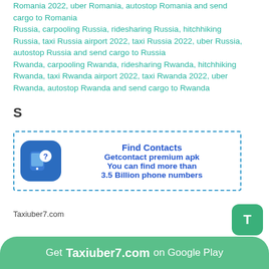Romania 2022, uber Romania, autostop Romania and send cargo to Romania
Russia, carpooling Russia, ridesharing Russia, hitchhiking Russia, taxi Russia airport 2022, taxi Russia 2022, uber Russia, autostop Russia and send cargo to Russia
Rwanda, carpooling Rwanda, ridesharing Rwanda, hitchhiking Rwanda, taxi Rwanda airport 2022, taxi Rwanda 2022, uber Rwanda, autostop Rwanda and send cargo to Rwanda
S
[Figure (infographic): Ad box with dashed blue border. Left: blue rounded square icon with phone and question mark. Right: text 'Find Contacts / Getcontact premium apk / You can find more than / 3.5 Billion phone numbers']
Taxiuber7.com
T
Get Taxiuber7.com on Google Play